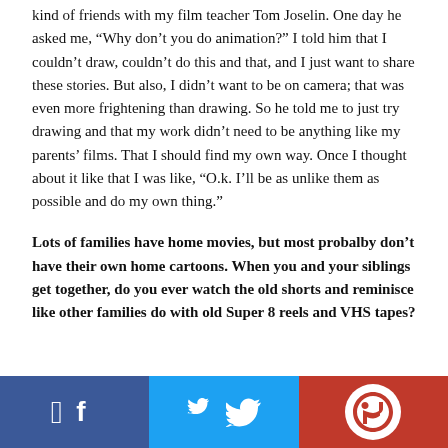kind of friends with my film teacher Tom Joselin. One day he asked me, “Why don’t you do animation?” I told him that I couldn’t draw, couldn’t do this and that, and I just want to share these stories. But also, I didn’t want to be on camera; that was even more frightening than drawing. So he told me to just try drawing and that my work didn’t need to be anything like my parents’ films. That I should find my own way. Once I thought about it like that I was like, “O.k. I’ll be as unlike them as possible and do my own thing.”
Lots of families have home movies, but most probalby don’t have their own home cartoons. When you and your siblings get together, do you ever watch the old shorts and reminisce like other families do with old Super 8 reels and VHS tapes?
[Figure (logo): Red background with white circular logo resembling a headphone or person icon]
Facebook | Twitter | Logo